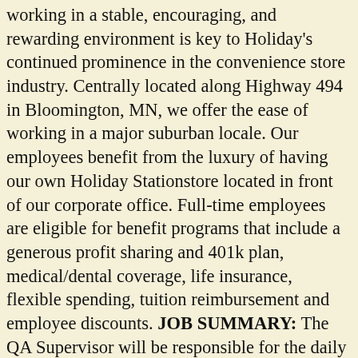working in a stable, encouraging, and rewarding environment is key to Holiday's continued prominence in the convenience store industry. Centrally located along Highway 494 in Bloomington, MN, we offer the ease of working in a major suburban locale. Our employees benefit from the luxury of having our own Holiday Stationstore located in front of our corporate office. Full-time employees are eligible for benefit programs that include a generous profit sharing and 401k plan, medical/dental coverage, life insurance, flexible spending, tuition reimbursement and employee discounts. JOB SUMMARY: The QA Supervisor will be responsible for the daily operations of the food production facility as well as ensuring that all quality procedures are followed and all plant quality goals are met as well as maintaining safety while assuring the company meets regulatory standards. KEY RESPONSIBILITIES: Ensures product safety, regulatory compliance and compliance with company standards as stated in the Quality Assurance Manual. Supervises and evaluates outside lab results. Maintains the HACCP program and ensures plant compliance Develops and manages the Quality Program and ensures compliance including environmental controls, sanitation and products quality controls. Develops/Provides training resources for plant personnel in quality and food safety. Reviews all product labels to ensure regulatory compliance and accuracy.